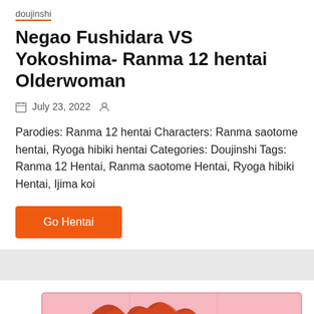doujinshi
Negao Fushidara VS Yokoshima- Ranma 12 hentai Olderwoman
July 23, 2022
Parodies: Ranma 12 hentai Characters: Ranma saotome hentai, Ryoga hibiki hentai Categories: Doujinshi Tags: Ranma 12 Hentai, Ranma saotome Hentai, Ryoga hibiki Hentai, Ijima koi
Go Hentai
[Figure (illustration): Anime/manga style illustration showing a character with red/orange hair against an orange circular background with a pink framed panel background. An orange scroll-to-top button with an upward arrow is visible in the bottom right.]